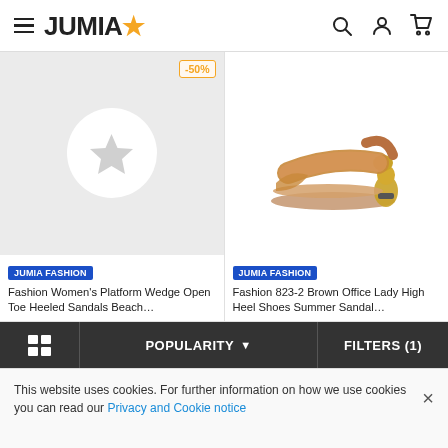JUMIA ★
[Figure (screenshot): Product listing card 1: Fashion Women's Platform Wedge Open Toe Heeled Sandals Beach... with -50% discount badge and Jumia Fashion brand label. Gray placeholder background with white circle star icon.]
[Figure (photo): Product listing card 2: Fashion 823-2 Brown Office Lady High Heel Shoes Summer Sandal... with Jumia Fashion brand label. Brown strappy sandal with gold sculptural heel on white background.]
POPULARITY   FILTERS (1)
This website uses cookies. For further information on how we use cookies you can read our Privacy and Cookie notice